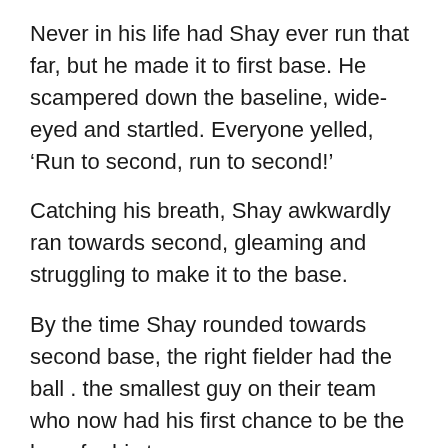Never in his life had Shay ever run that far, but he made it to first base. He scampered down the baseline, wide-eyed and startled. Everyone yelled, ‘Run to second, run to second!’
Catching his breath, Shay awkwardly ran towards second, gleaming and struggling to make it to the base.
By the time Shay rounded towards second base, the right fielder had the ball . the smallest guy on their team who now had his first chance to be the hero for his team.
He could have thrown the ball to the second-baseman for the tag, but he understood the pitcher’s intentions so he, too, intentionally threw the ball high and far over the third-baseman’s head. Shay ran toward third base deliriously as the runners ahead of him circled the bases toward home.